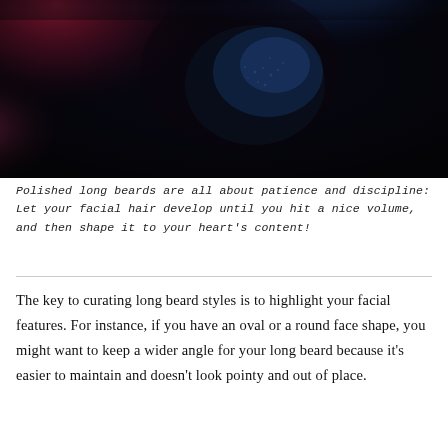[Figure (photo): Close-up photo of a man's face and long beard illuminated with blue and red/pink lighting against a dark black background. The beard appears dark and textured with blue light highlighting.]
Polished long beards are all about patience and discipline: Let your facial hair develop until you hit a nice volume, and then shape it to your heart's content!
The key to curating long beard styles is to highlight your facial features. For instance, if you have an oval or a round face shape, you might want to keep a wider angle for your long beard because it's easier to maintain and doesn't look pointy and out of place.